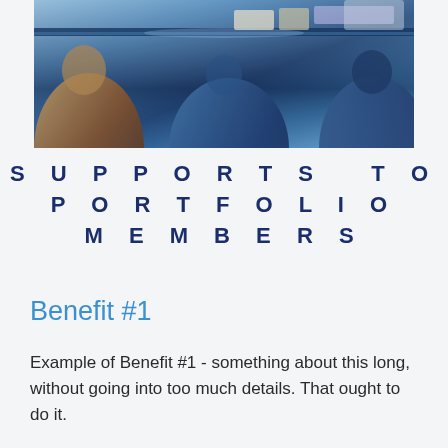[Figure (photo): Photo of people sitting around a table in a meeting or classroom setting, with a blue tint overlay. Books and laptops visible on the table.]
SUPPORTS TO PORTFOLIO MEMBERS
Benefit #1
Example of Benefit #1 - something about this long, without going into too much details. That ought to do it.